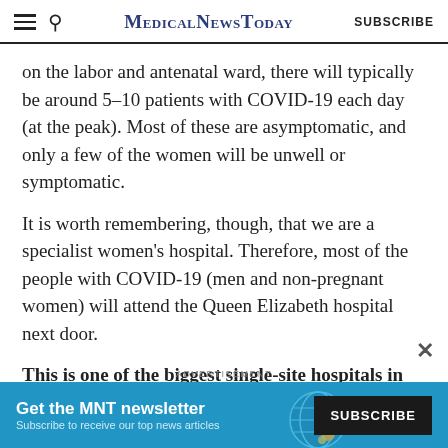MedicalNewsToday SUBSCRIBE
on the labor and antenatal ward, there will typically be around 5–10 patients with COVID-19 each day (at the peak). Most of these are asymptomatic, and only a few of the women will be unwell or symptomatic.
It is worth remembering, though, that we are a specialist women's hospital. Therefore, most of the people with COVID-19 (men and non-pregnant women) will attend the Queen Elizabeth hospital next door.
This is one of the biggest single-site hospitals in Europe, and there have been times during the peaks of the waves that this hospital has been full of unwell patients with COVID-19.
[Figure (infographic): Advertisement banner: Get the MNT newsletter - Subscribe to receive our top news articles - SUBSCRIBE button with globe graphic on teal background]